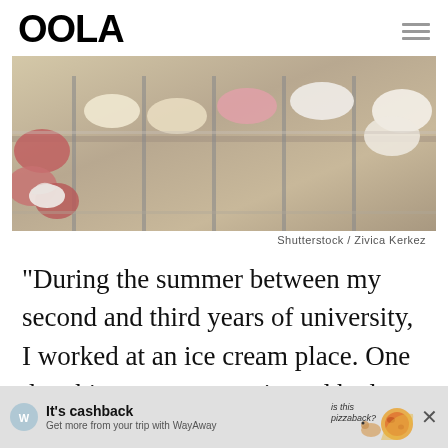OOLA
[Figure (photo): Display case with multiple flavors of gelato/ice cream in metal trays, close-up view]
Shutterstock / Zivica Kerkez
“During the summer between my second and third years of university, I worked at an ice cream place. One day this woman came in and had a
[Figure (infographic): WayAway advertisement banner: It's cashback - Get more from your trip with WayAway, with pizza illustration and close button]